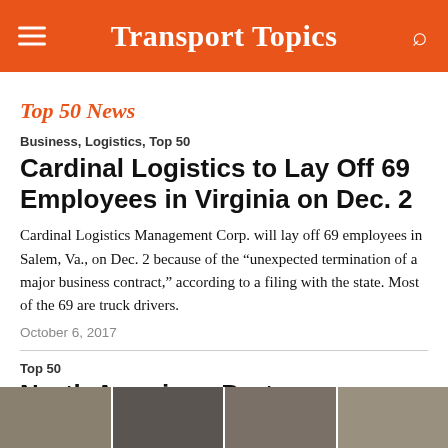Transport Topics
Top 50 News
Business, Logistics, Top 50
Cardinal Logistics to Lay Off 69 Employees in Virginia on Dec. 2
Cardinal Logistics Management Corp. will lay off 69 employees in Salem, Va., on Dec. 2 because of the “unexpected termination of a major business contract,” according to a filing with the state. Most of the 69 are truck drivers.
October 6, 2017
Top 50
North American Ports
[Figure (photo): Strip of thumbnail images at the bottom of the page, showing port/shipping scenes]